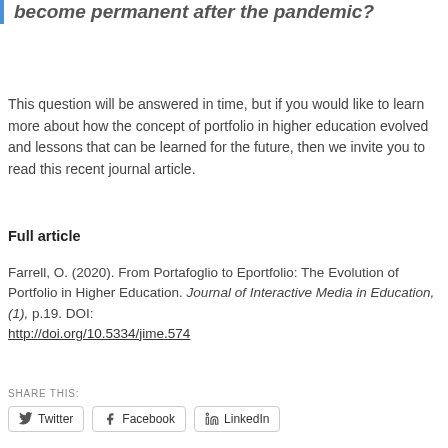become permanent after the pandemic?
This question will be answered in time, but if you would like to learn more about how the concept of portfolio in higher education evolved and lessons that can be learned for the future, then we invite you to read this recent journal article.
Full article
Farrell, O. (2020). From Portafoglio to Eportfolio: The Evolution of Portfolio in Higher Education. Journal of Interactive Media in Education, (1), p.19. DOI: http://doi.org/10.5334/jime.574
SHARE THIS: